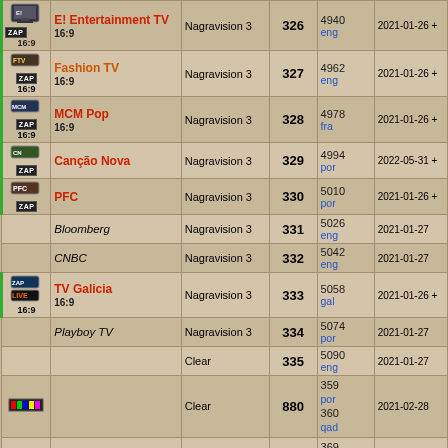| Icon | Name | Encryption | Ch | Freq/Lang | Date |
| --- | --- | --- | --- | --- | --- |
| E! Entertainment TV / ZAP / 16:9 | Nagravision 3 | 326 | 4940 eng | 2021-01-26 + |
| Fashion TV / ZAP / 16:9 | Nagravision 3 | 327 | 4962 eng | 2021-01-26 + |
| MCM Pop / ZAP / 16:9 | Nagravision 3 | 328 | 4978 fra | 2021-01-26 + |
| Canção Nova / ZAP | Nagravision 3 | 329 | 4994 por | 2022-05-31 + |
| PFC / ZAP | Nagravision 3 | 330 | 5010 por | 2021-01-26 + |
| Bloomberg | Nagravision 3 | 331 | 5026 eng | 2021-01-27 |
| CNBC | Nagravision 3 | 332 | 5042 eng | 2021-01-27 |
| TV Galicia / ZAP / LIVE / 16:9 | Nagravision 3 | 333 | 5058 gal | 2021-01-26 + |
| Playboy TV | Nagravision 3 | 334 | 5074 por | 2021-01-27 |
|  | Clear | 335 | 5090 eng | 2021-01-27 |
| bar icon | Clear | 880 | 359 por / 360 qad | 2021-02-28 |
| bar icon | Clear | 881 | 369 por / 370 qad | 2021-02-28 |
| SIC Noticias / ZAP | Nagravision 3 | 885 | 357 por | 2022-08-28 + |
| Canal Panda / ZAP | Nagravision 3 | 886 | 5680 | 2022-08-28 + |